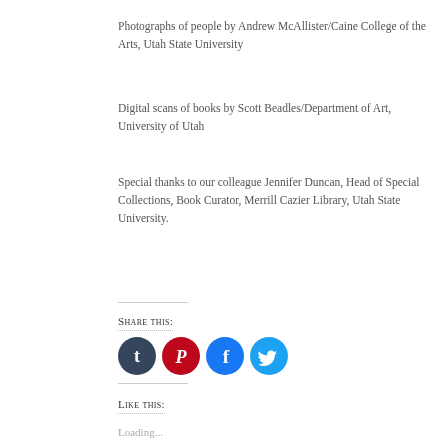Photographs of people by Andrew McAllister/Caine College of the Arts, Utah State University
Digital scans of books by Scott Beadles/Department of Art, University of Utah
Special thanks to our colleague Jennifer Duncan, Head of Special Collections, Book Curator, Merrill Cazier Library, Utah State University.
Share this:
[Figure (infographic): Four social media share buttons: Tumblr (dark navy circle), Pinterest (red circle), Facebook (blue circle), Twitter (cyan circle)]
Like this:
Loading...